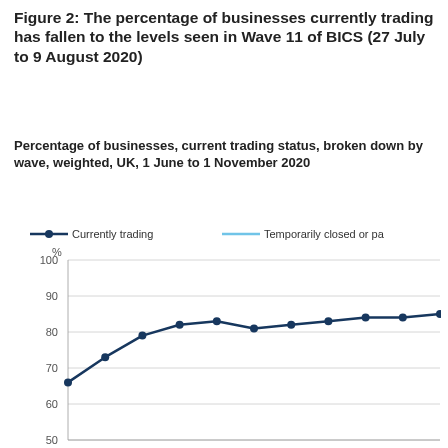Figure 2: The percentage of businesses currently trading has fallen to the levels seen in Wave 11 of BICS (27 July to 9 August 2020)
Percentage of businesses, current trading status, broken down by wave, weighted, UK, 1 June to 1 November 2020
[Figure (line-chart): ]